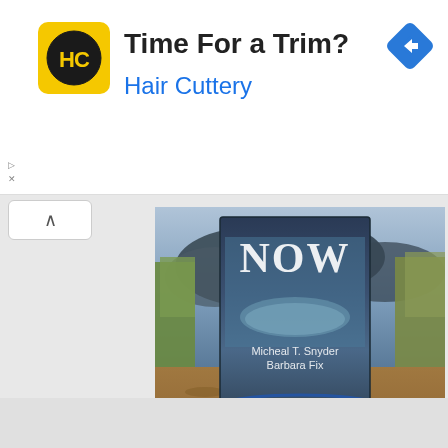[Figure (screenshot): Hair Cuttery advertisement banner with yellow HC logo, title 'Time For a Trim?' and blue navigation diamond icon]
Time For a Trim?
Hair Cuttery
[Figure (photo): Book cover showing 'NOW' by Micheal T. Snyder and Barbara Fix, displayed standing in outdoor dirt/grass scene, with amazon.com buy button circled in blue below]
Micheal T. Snyder Barbara Fix
[Figure (logo): amazon.com logo with orange smile arrow underneath, inside a cream/white rounded rectangle button, circled by a blue oval]